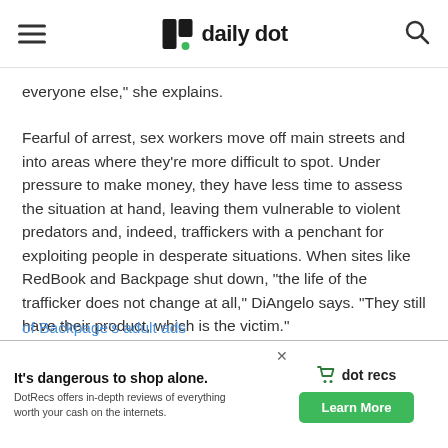daily dot
everyone else,” she explains.
Fearful of arrest, sex workers move off main streets and into areas where they’re more difficult to spot. Under pressure to make money, they have less time to assess the situation at hand, leaving them vulnerable to violent predators and, indeed, traffickers with a penchant for exploiting people in desperate situations. When sites like RedBook and Backpage shut down, “the life of the trafficker does not change at all,” DiAngelo says. “They still have their product, which is the victim.”
Granted, sex trafficking does happen on Backpage: An ... which ... of Backpage’s adult ads
[Figure (screenshot): Advertisement banner: 'It’s dangerous to shop alone. DotRecs offers in-depth reviews of everything worth your cash on the internets.' with a 'Learn More' button and dot recs branding with shopping cart icon.]